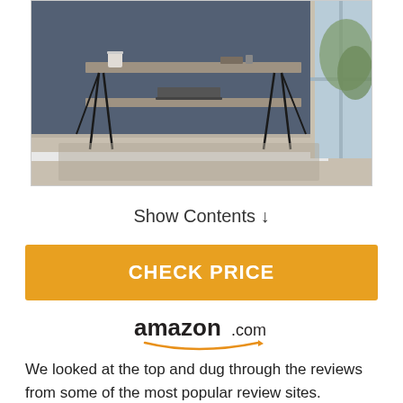[Figure (photo): A wooden desk with hairpin legs in a room with dark blue/slate walls, light wood floor, and a window on the right. Items on desk include a cup and laptop.]
Show Contents ↓
CHECK PRICE
[Figure (logo): amazon.com logo with smile arrow underneath]
We looked at the top and dug through the reviews from some of the most popular review sites. Through this